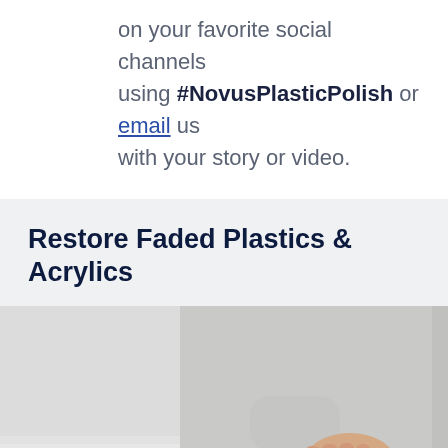on your favorite social channels using #NovusPlasticPolish or email us with your story or video.
Restore Faded Plastics & Acrylics
[Figure (photo): A person wearing a light grey long-sleeve top wiping or polishing a white surface with a light blue cloth/microfiber pad. The photo is cropped showing the hand and arm from the side.]